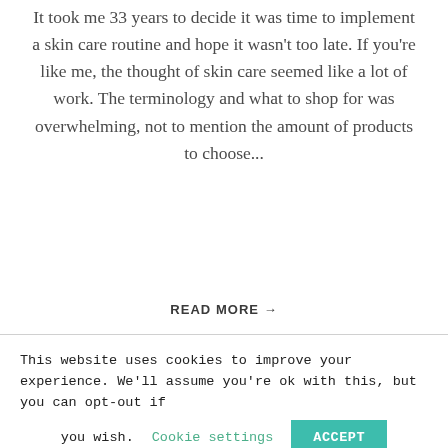It took me 33 years to decide it was time to implement a skin care routine and hope it wasn't too late. If you're like me, the thought of skin care seemed like a lot of work. The terminology and what to shop for was overwhelming, not to mention the amount of products to choose...
READ MORE →
This website uses cookies to improve your experience. We'll assume you're ok with this, but you can opt-out if you wish. Cookie settings ACCEPT